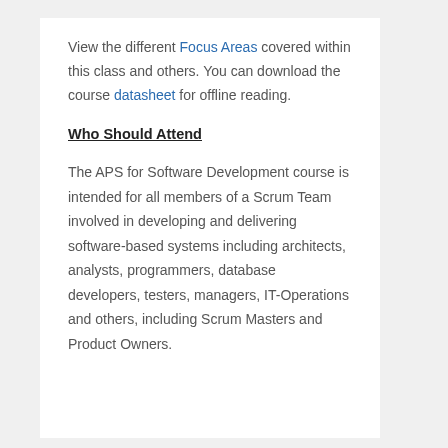View the different Focus Areas covered within this class and others. You can download the course datasheet for offline reading.
Who Should Attend
The APS for Software Development course is intended for all members of a Scrum Team involved in developing and delivering software-based systems including architects, analysts, programmers, database developers, testers, managers, IT-Operations and others, including Scrum Masters and Product Owners.